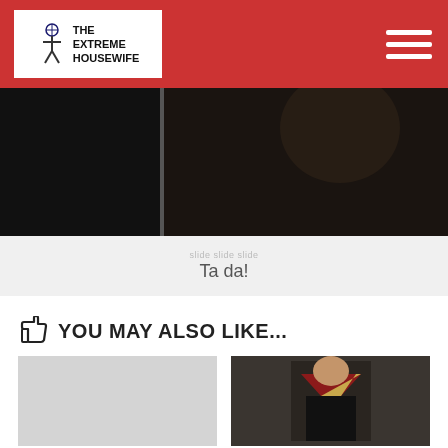THE EXTREME HOUSEWIFE
[Figure (photo): Dark photo strip showing partial view of a person, hair visible, dark background]
Ta da!
YOU MAY ALSO LIKE...
[Figure (photo): Light gray placeholder image for Viva HotPants Winners article]
Viva HotPants Winners!
[Figure (photo): Photo of person wearing black and red/gold V-neck dress, standing indoors]
REVIEW: LMFLMF Fashion Boutique